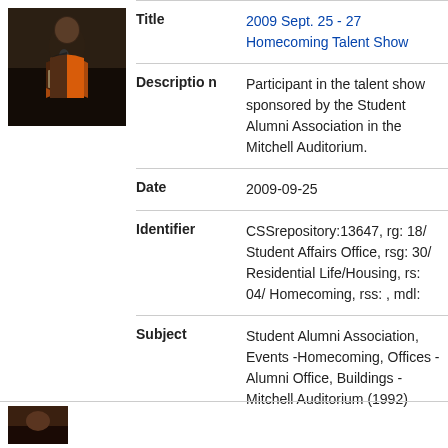[Figure (photo): A young woman singing or speaking into a microphone, wearing an orange top, photographed at an event.]
| Field | Value |
| --- | --- |
| Title | 2009 Sept. 25 - 27 Homecoming Talent Show |
| Description | Participant in the talent show sponsored by the Student Alumni Association in the Mitchell Auditorium. |
| Date | 2009-09-25 |
| Identifier | CSSrepository:13647, rg: 18/ Student Affairs Office, rsg: 30/ Residential Life/Housing, rs: 04/ Homecoming, rss: , mdl: |
| Subject | Student Alumni Association, Events -Homecoming, Offices -Alumni Office, Buildings -Mitchell Auditorium (1992) |
[Figure (photo): Partial image of another photo at the bottom of the page.]